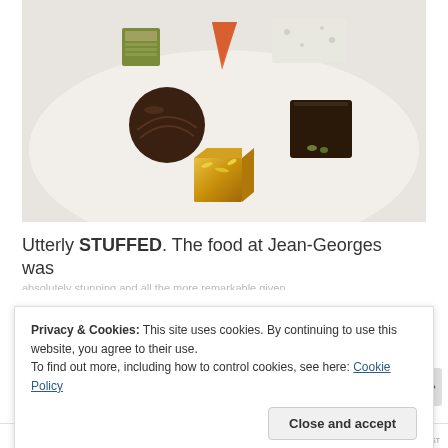[Figure (photo): A white plate with five assorted chocolates and confections: a green square chocolate, an orange/salmon colored wedge, a white rectangular nougat or marshmallow, a dark chocolate truffle ball, a dark chocolate square with pistachio decoration, and a golden caramel cube with gold leaf]
Utterly STUFFED. The food at Jean-Georges was
Privacy & Cookies: This site uses cookies. By continuing to use this website, you agree to their use.
To find out more, including how to control cookies, see here: Cookie Policy
Close and accept